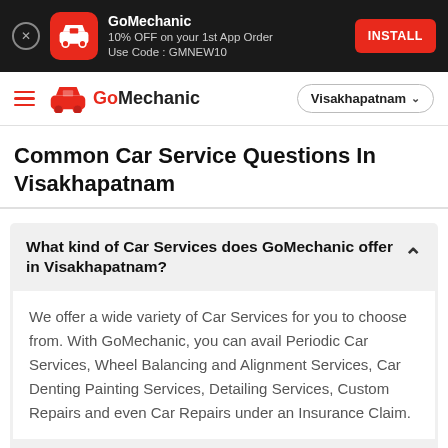[Figure (screenshot): GoMechanic app install banner ad on dark background with car icon, text '10% OFF on your 1st App Order Use Code : GMNEW10' and red INSTALL button]
GoMechanic | Visakhapatnam
Common Car Service Questions In Visakhapatnam
What kind of Car Services does GoMechanic offer in Visakhapatnam?
We offer a wide variety of Car Services for you to choose from. With GoMechanic, you can avail Periodic Car Services, Wheel Balancing and Alignment Services, Car Denting Painting Services, Detailing Services, Custom Repairs and even Car Repairs under an Insurance Claim.